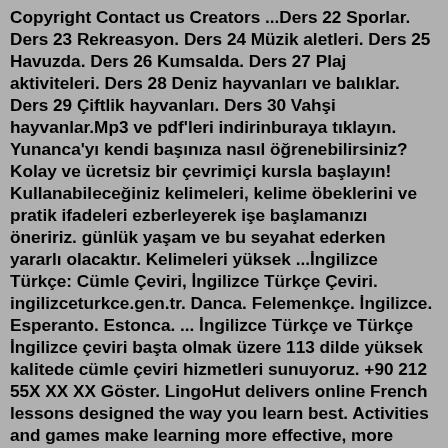Copyright Contact us Creators ...Ders 22 Sporlar. Ders 23 Rekreasyon. Ders 24 Müzik aletleri. Ders 25 Havuzda. Ders 26 Kumsalda. Ders 27 Plaj aktiviteleri. Ders 28 Deniz hayvanları ve balıklar. Ders 29 Çiftlik hayvanları. Ders 30 Vahşi hayvanlar.Mp3 ve pdf'leri indirinburaya tıklayın. Yunanca'yı kendi başınıza nasıl öğrenebilirsiniz? Kolay ve ücretsiz bir çevrimiçi kursla başlayın! Kullanabileceğiniz kelimeleri, kelime öbeklerini ve pratik ifadeleri ezberleyerek işe başlamanızı öneririz. günlük yaşam ve bu seyahat ederken yararlı olacaktır. Kelimeleri yüksek ...İngilizce Türkçe: Cümle Çeviri, İngilizce Türkçe Çeviri. ingilizceturkce.gen.tr. Danca. Felemenkçe. İngilizce. Esperanto. Estonca. ... İngilizce Türkçe ve Türkçe İngilizce çeviri başta olmak üzere 113 dilde yüksek kalitede cümle çeviri hizmetleri sunuyoruz. +90 212 55X XX XX Göster. LingoHut delivers online French lessons designed the way you learn best. Activities and games make learning more effective, more personal,